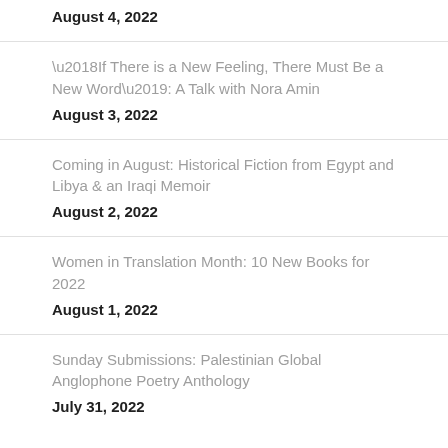August 4, 2022
‘If There is a New Feeling, There Must Be a New Word’: A Talk with Nora Amin
August 3, 2022
Coming in August: Historical Fiction from Egypt and Libya & an Iraqi Memoir
August 2, 2022
Women in Translation Month: 10 New Books for 2022
August 1, 2022
Sunday Submissions: Palestinian Global Anglophone Poetry Anthology
July 31, 2022